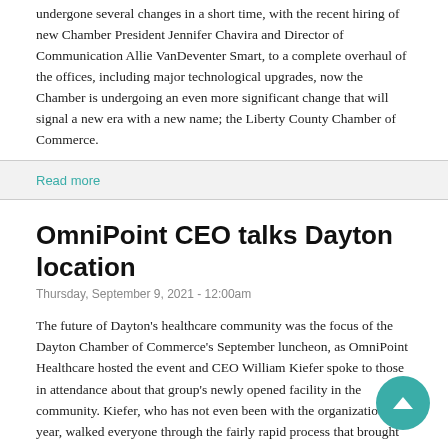undergone several changes in a short time, with the recent hiring of new Chamber President Jennifer Chavira and Director of Communication Allie VanDeventer Smart, to a complete overhaul of the offices, including major technological upgrades, now the Chamber is undergoing an even more significant change that will signal a new era with a new name; the Liberty County Chamber of Commerce.
Read more
OmniPoint CEO talks Dayton location
Thursday, September 9, 2021 - 12:00am
The future of Dayton's healthcare community was the focus of the Dayton Chamber of Commerce's September luncheon, as OmniPoint Healthcare hosted the event and CEO William Kiefer spoke to those in attendance about that group's newly opened facility in the community. Kiefer, who has not even been with the organization a year, walked everyone through the fairly rapid process that brought the group formerly known as Chambers Health to Dayton.
Read more